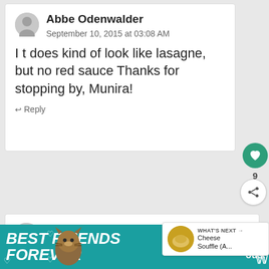Abbe Odenwalder
September 10, 2015 at 03:08 AM
I t does kind of look like lasagne, but no red sauce Thanks for stopping by, Munira!
Reply
Chris Scheuer
September 9, 2015 at 08:28 PM
[Figure (infographic): Ad banner with teal background showing a cat and text 'BEST FRIENDS FOREVER' with hearts]
WHAT'S NEXT → Cheese Souffle (A...